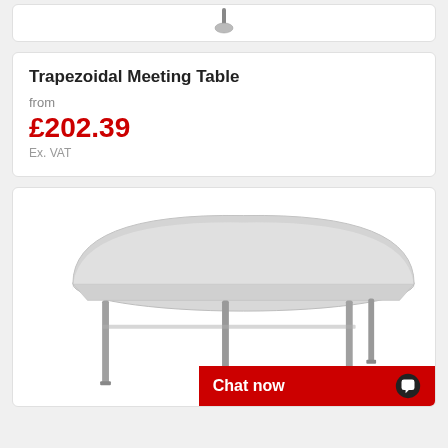[Figure (photo): Top portion of a product card showing a small icon/image of a trapezoidal meeting table at the top]
Trapezoidal Meeting Table
from
£202.39
Ex. VAT
[Figure (photo): Semi-circular/D-shaped meeting table with light grey top and four silver/grey metal legs, shown in perspective view on white background]
Chat now